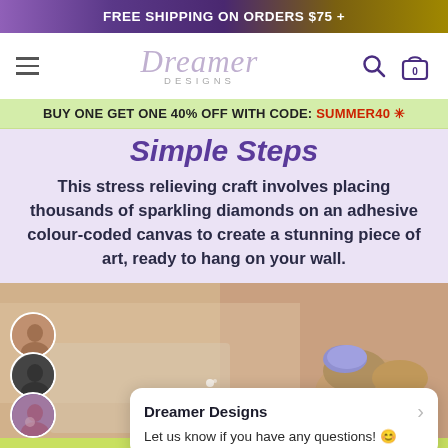FREE SHIPPING ON ORDERS $75 +
[Figure (logo): Dreamer Designs logo with script font and DESIGNS subtitle, hamburger menu, search and bag icons]
BUY ONE GET ONE 40% OFF WITH CODE: SUMMER40 *
Simple Steps
This stress relieving craft involves placing thousands of sparkling diamonds on an adhesive colour-coded canvas to create a stunning piece of art, ready to hang on your wall.
[Figure (photo): Close-up photo of a person placing a diamond on a canvas with purple-painted nails]
Dreamer Designs
Let us know if you have any questions! 😊